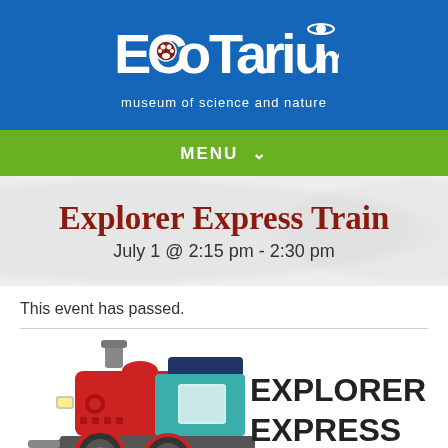[Figure (logo): EcoTarium museum of science and nature logo with white text on blue background]
MENU ∨
Explorer Express Train
July 1 @ 2:15 pm - 2:30 pm
This event has passed.
[Figure (illustration): Cartoon illustration of a red and teal steam locomotive train with the text EXPLORER EXPRESS TRAIN beside it]